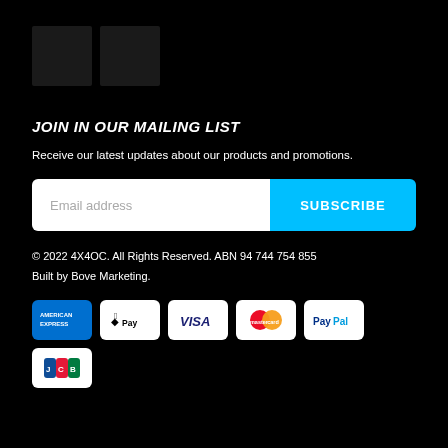[Figure (logo): Two dark square logo boxes at the top left]
JOIN IN OUR MAILING LIST
Receive our latest updates about our products and promotions.
[Figure (screenshot): Email address input field with SUBSCRIBE button]
© 2022 4X4OC. All Rights Reserved. ABN 94 744 754 855
Built by Bove Marketing.
[Figure (other): Payment method logos: American Express, Apple Pay, Visa, MasterCard, PayPal, JCB]